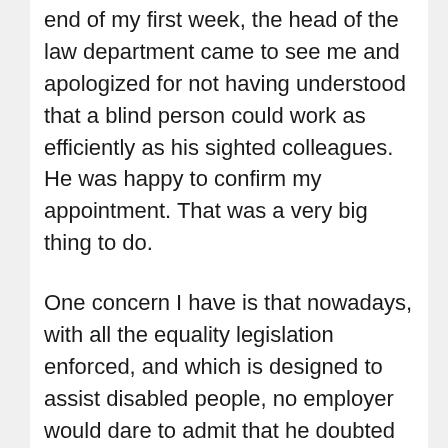end of my first week, the head of the law department came to see me and apologized for not having understood that a blind person could work as efficiently as his sighted colleagues. He was happy to confirm my appointment. That was a very big thing to do.
One concern I have is that nowadays, with all the equality legislation enforced, and which is designed to assist disabled people, no employer would dare to admit that he doubted the ability of a disabled person to perform work for fear of falling foul of equality legislation. Everyone who's been on an interview panel knows that it's very easy to assign another reason for turning down a potential applicant. The story eventually got much